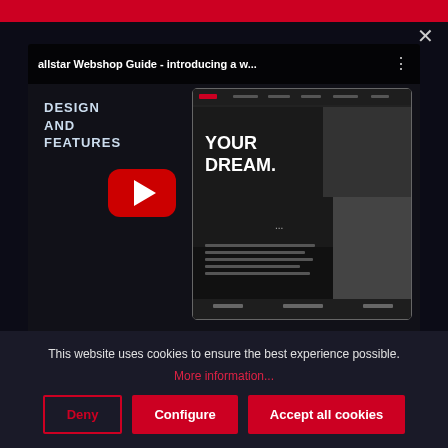[Figure (screenshot): YouTube video player modal overlay showing 'allstar Webshop Guide - introducing a w...' video with a red play button, website preview thumbnail on right, and text 'DESIGN AND FEATURES' on left]
We also use temporary cookies to optimise friendliness. These cookies are stored on your device for a specific period of time. If you return to our website to use...
This website uses cookies to ensure the best experience possible.
More information...
Deny
Configure
Accept all cookies